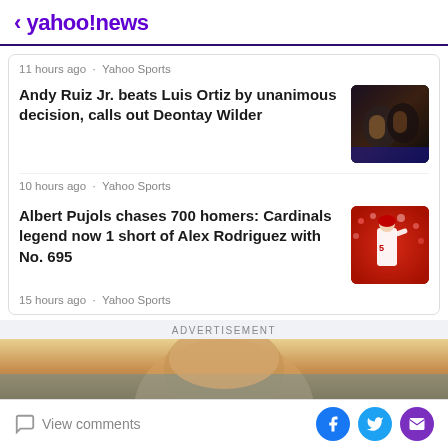< yahoo!news
11 hours ago · Yahoo Sports
Andy Ruiz Jr. beats Luis Ortiz by unanimous decision, calls out Deontay Wilder
10 hours ago · Yahoo Sports
[Figure (photo): Boxing match thumbnail showing two fighters]
Albert Pujols chases 700 homers: Cardinals legend now 1 short of Alex Rodriguez with No. 695
15 hours ago · Yahoo Sports
[Figure (photo): Baseball player thumbnail, Cardinals uniform]
ADVERTISEMENT
[Figure (photo): Advertisement image showing person]
View comments